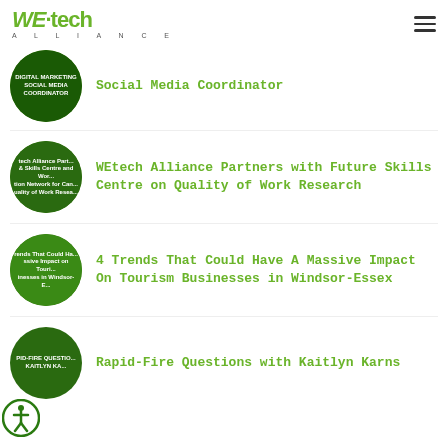WE·tech Alliance
Social Media Coordinator
WEtech Alliance Partners with Future Skills Centre on Quality of Work Research
4 Trends That Could Have A Massive Impact On Tourism Businesses in Windsor-Essex
Rapid-Fire Questions with Kaitlyn Karns